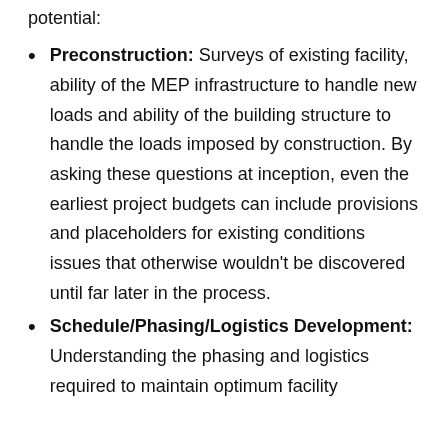potential:
Preconstruction: Surveys of existing facility, ability of the MEP infrastructure to handle new loads and ability of the building structure to handle the loads imposed by construction. By asking these questions at inception, even the earliest project budgets can include provisions and placeholders for existing conditions issues that otherwise wouldn't be discovered until far later in the process.
Schedule/Phasing/Logistics Development: Understanding the phasing and logistics required to maintain optimum facility